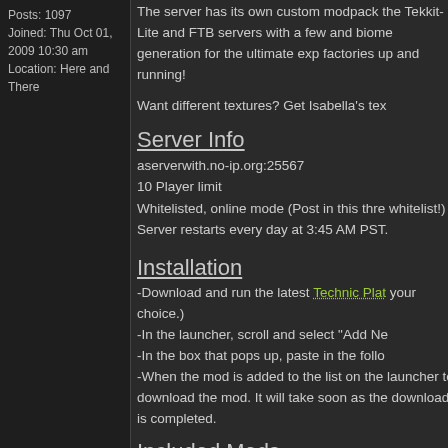Posts: 1097
Joined: Thu Oct 01, 2009 10:30 am
Location: Here and There
The server has its own custom modpack the Tekkit-Lite and FTB servers with a few and biome generation for the ultimate exp factories up and running!
Want different textures? Get Isabella's tex
Server Info
aserverwith.no-ip.org:25567
10 Player limit
Whitelisted, online mode (Post in this thre whitelist!)
Server restarts every day at 3:45 AM PST.
Installation
-Download and run the latest Technic Plat your choice.)
-In the launcher, scroll and select "Add Ne
-In the box that pops up, paste in the follo
-When the mod is added to the list on the launcher to download the mod. It will take soon as the download is completed.
Included Mods